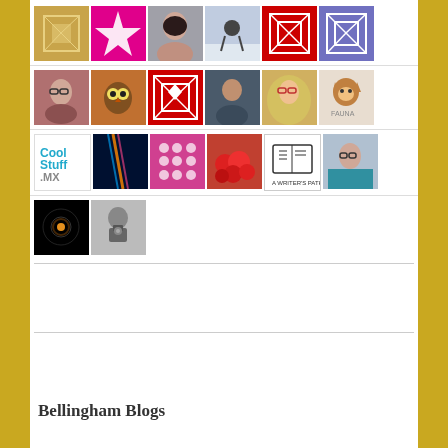[Figure (photo): Grid of blog follower avatar thumbnails arranged in rows. Row 1: tan quilt pattern, pink quilt pattern, woman portrait, winter skier, red quilt pattern, purple quilt pattern. Row 2: woman with glasses, owl/bird photo, red quilt pattern, man outdoors, blonde woman, fox illustration with FAUNA text. Row 3: Cool Stuff .MX logo, colorful light/art photo, pink quilt pattern, tomatoes/produce photo, A Writer's Path icon, woman portrait. Row 4: black galaxy/star image, man with camera (black and white).]
Bellingham Blogs